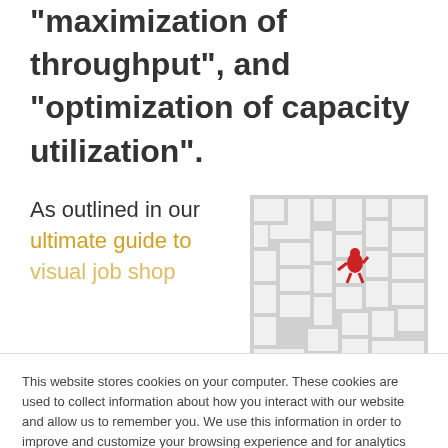"maximization of throughput", and "optimization of capacity utilization".
As outlined in our ultimate guide to visual job shop
[Figure (photo): Aerial view of a white maze/labyrinth with a small red figure navigating it]
This website stores cookies on your computer. These cookies are used to collect information about how you interact with our website and allow us to remember you. We use this information in order to improve and customize your browsing experience and for analytics and metrics about our visitors both on this website and other media. To find out more about the cookies we use, see our Privacy Policy.
If you decline, your information won't be tracked when you visit this website. A single cookie will be used in your browser to remember your preference not to be tracked.